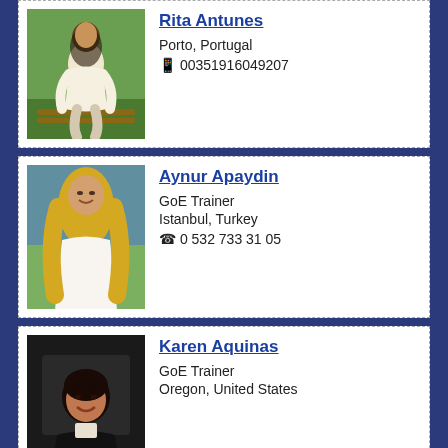[Figure (photo): Partial card for Rita Antunes: photo of woman sitting on bench in white outfit outdoors]
Rita Antunes
Porto, Portugal
📱 00351916049207
[Figure (photo): Photo of Aynur Apaydin: blonde woman in white top outdoors]
Aynur Apaydin
GoE Trainer
Istanbul, Turkey
☎ 0 532 733 31 05
[Figure (photo): Photo of Karen Aquinas: short dark hair woman in black jacket]
Karen Aquinas
GoE Trainer
Oregon, United States
Şükran Aracı